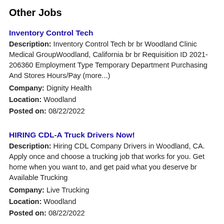Other Jobs
Inventory Control Tech
Description: Inventory Control Tech br br Woodland Clinic Medical GroupWoodland, California br br Requisition ID 2021-206360 Employment Type Temporary Department Purchasing And Stores Hours/Pay (more...)
Company: Dignity Health
Location: Woodland
Posted on: 08/22/2022
HIRING CDL-A Truck Drivers Now!
Description: Hiring CDL Company Drivers in Woodland, CA. Apply once and choose a trucking job that works for you. Get home when you want to, and get paid what you deserve br Available Trucking
Company: Live Trucking
Location: Woodland
Posted on: 08/22/2022
Work From Home as Product Tester, $25 - /hour. PT/FT. No Exp. Required
Description: In-Home Usage Tester Product Tester from home